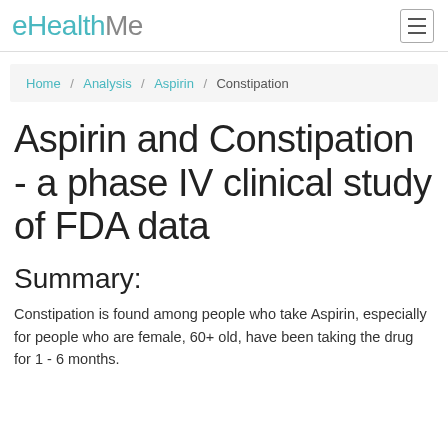eHealthMe
Home / Analysis / Aspirin / Constipation
Aspirin and Constipation - a phase IV clinical study of FDA data
Summary:
Constipation is found among people who take Aspirin, especially for people who are female, 60+ old, have been taking the drug for 1 - 6 months.